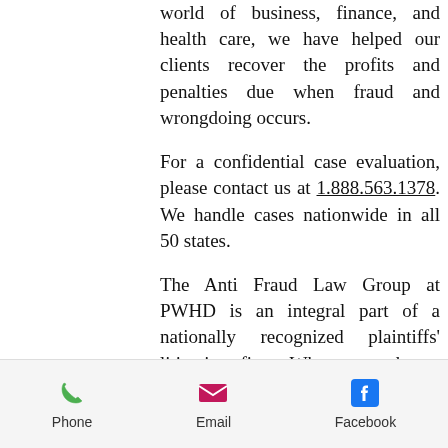world of business, finance, and health care, we have helped our clients recover the profits and penalties due when fraud and wrongdoing occurs.

For a confidential case evaluation, please contact us at 1.888.563.1378. We handle cases nationwide in all 50 states.

The Anti Fraud Law Group at PWHD is an integral part of a nationally recognized plaintiffs' litigation firm. When you choose PWHD to handle your whistleblower lawsuit, you can expect your case to be backed by big-firm resources and your journey
Phone  Email  Facebook